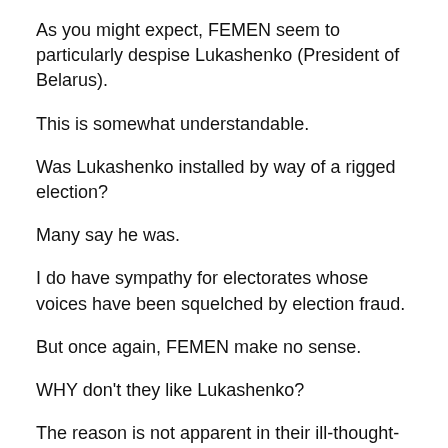As you might expect, FEMEN seem to particularly despise Lukashenko (President of Belarus).
This is somewhat understandable.
Was Lukashenko installed by way of a rigged election?
Many say he was.
I do have sympathy for electorates whose voices have been squelched by election fraud.
But once again, FEMEN make no sense.
WHY don't they like Lukashenko?
The reason is not apparent in their ill-thought-out slogan, “Respect, KGB, UEFA.”
What the fuck is that supposed to mean?